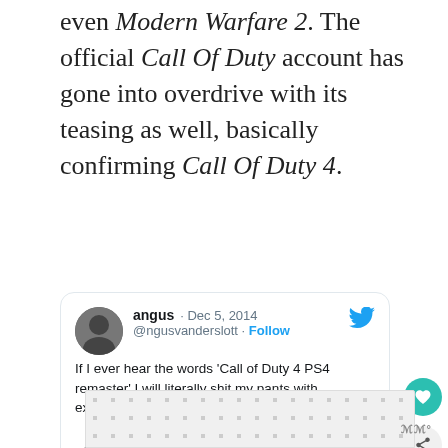even Modern Warfare 2. The official Call Of Duty account has gone into overdrive with its teasing as well, basically confirming Call Of Duty 4.
[Figure (screenshot): Embedded tweet thread screenshot. First tweet by @ngusvanderslott (angus, Dec 5, 2014): 'If I ever hear the words Call of Duty 4 PS4 remaster I will literally shit my pants with excitement'. Reply by @CallofDuty (Call of Duty, verified): '@ngusvanderslott 💩👖'. Timestamp: 9:20 PM · Apr 27, 2016.]